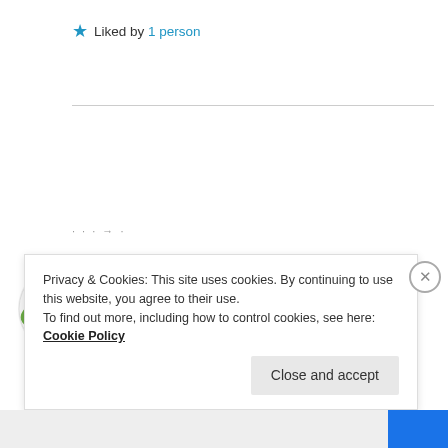★ Liked by 1 person
[Figure (photo): Circular avatar image showing red raspberries/strawberries on a white background]
OFFSHOREWRITER
December 26, 2020 at 7:25 pm
Privacy & Cookies: This site uses cookies. By continuing to use this website, you agree to their use. To find out more, including how to control cookies, see here: Cookie Policy
Close and accept